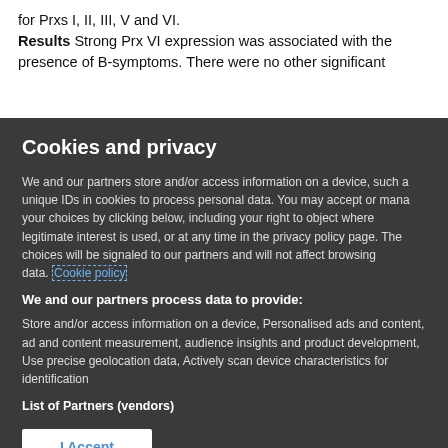for Prxs I, II, III, V and VI.
Results Strong Prx VI expression was associated with the presence of B-symptoms. There were no other significant
Cookies and privacy
We and our partners store and/or access information on a device, such as unique IDs in cookies to process personal data. You may accept or manage your choices by clicking below, including your right to object where legitimate interest is used, or at any time in the privacy policy page. These choices will be signaled to our partners and will not affect browsing data. Cookie policy
We and our partners process data to provide:
Store and/or access information on a device, Personalised ads and content, ad and content measurement, audience insights and product development, Use precise geolocation data, Actively scan device characteristics for identification
List of Partners (vendors)
I Accept